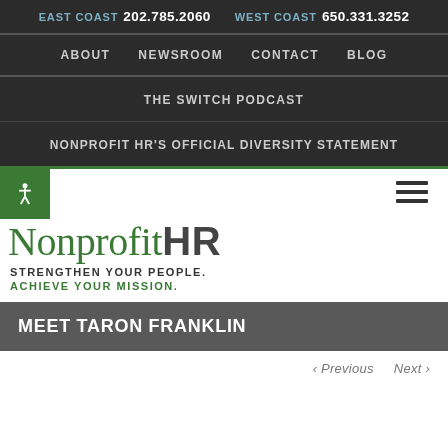EAST COAST 202.785.2060  WEST COAST 650.331.3252
ABOUT   NEWSROOM   CONTACT   BLOG
THE SWITCH PODCAST
NONPROFIT HR'S OFFICIAL DIVERSITY STATEMENT
[Figure (logo): Nonprofit HR logo with accessibility icon and hamburger menu. Logo text reads 'Nonprofit HR' with taglines 'STRENGTHEN YOUR PEOPLE.' and 'ACHIEVE YOUR MISSION.']
MEET TARON FRANKLIN
< Previous   Next >